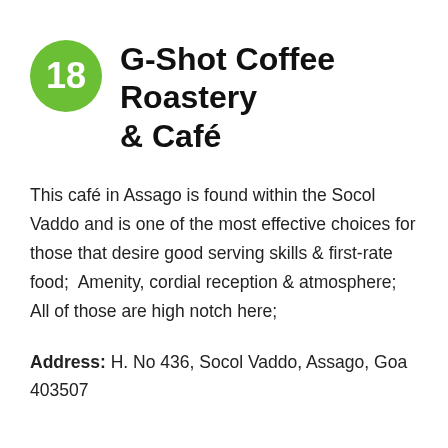18 G-Shot Coffee Roastery & Café
This café in Assago is found within the Socol Vaddo and is one of the most effective choices for those that desire good serving skills & first-rate food;  Amenity, cordial reception & atmosphere; All of those are high notch here;
Address: H. No 436, Socol Vaddo, Assago, Goa 403507